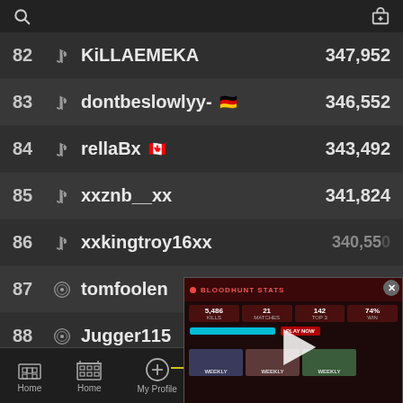Search | Gift
| Rank | Platform | Username | Score |
| --- | --- | --- | --- |
| 82 | PS | KiLLAEMEKA | 347,952 |
| 83 | PS | dontbeslowlyy- | 346,552 |
| 84 | PS | rellaBx | 343,492 |
| 85 | PS | xxznb__xx | 341,824 |
| 86 | PS | xxkingtroy16xx | 340,552 |
| 87 | Xbox | tomfoolen |  |
| 88 | Xbox | Jugger115 |  |
[Figure (screenshot): Popup overlay showing a game stats/video screen with BLOODHUNT STATS header, stat boxes, a progress bar, play button, and Weekly thumbnail images]
Home | My Profile | Leaderboards | Shop | More